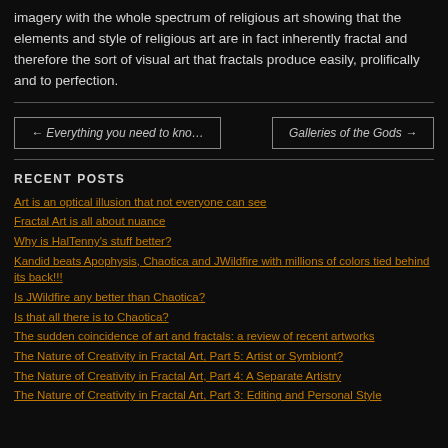imagery with the whole spectrum of religious art showing that the elements and style of religious art are in fact inherently fractal and therefore the sort of visual art that fractals produce easily, prolifically and to perfection.
← Everything you need to kno…
Galleries of the Gods →
RECENT POSTS
Art is an optical illusion that not everyone can see
Fractal Art is all about nuance
Why is HalTenny's stuff better?
Kandid beats Apophysis, Chaotica and JWildfire with millions of colors tied behind its back!!!
Is JWildfire any better than Chaotica?
Is that all there is to Chaotica?
The sudden coincidence of art and fractals: a review of recent artworks
The Nature of Creativity in Fractal Art, Part 5: Artist or Symbiont?
The Nature of Creativity in Fractal Art, Part 4: A Separate Artistry
The Nature of Creativity in Fractal Art, Part 3: Editing and Personal Style